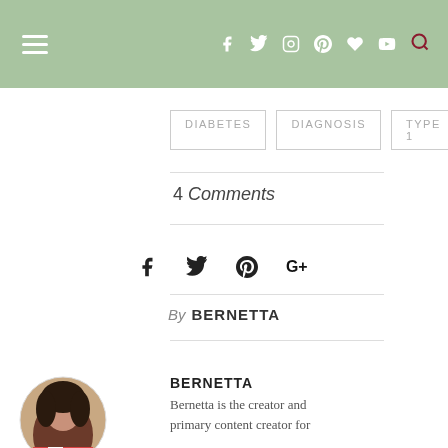Navigation bar with hamburger menu, social icons (f, Twitter, Instagram, Pinterest, heart, YouTube), and search icon
DIABETES
DIAGNOSIS
TYPE 1
4 Comments
[Figure (other): Social share icons: Facebook, Twitter, Pinterest, Google+]
By BERNETTA
[Figure (photo): Circular portrait photo of Bernetta, a woman with dark curly hair]
BERNETTA
Bernetta is the creator and primary content creator for